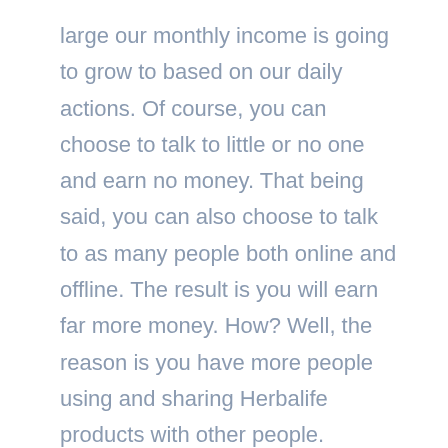large our monthly income is going to grow to based on our daily actions. Of course, you can choose to talk to little or no one and earn no money. That being said, you can also choose to talk to as many people both online and offline. The result is you will earn far more money. How? Well, the reason is you have more people using and sharing Herbalife products with other people.
Remember, Herbalife distributors that sign up under your business are also working to build their own. Herbalife pays you for the work (sales made) that many people do. You are not paid for the work you co-workers do at your job in Ecuador. In fact